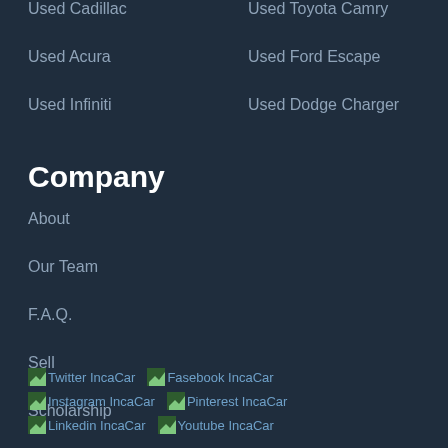Used Cadillac
Used Toyota Camry
Used Acura
Used Ford Escape
Used Infiniti
Used Dodge Charger
Company
About
Our Team
F.A.Q.
Sell
Scholarship
Contact
[Figure (other): Social media icons for Twitter IncaCar, Fasebook IncaCar, Instagram IncaCar, Pinterest IncaCar, Linkedin IncaCar, Youtube IncaCar]